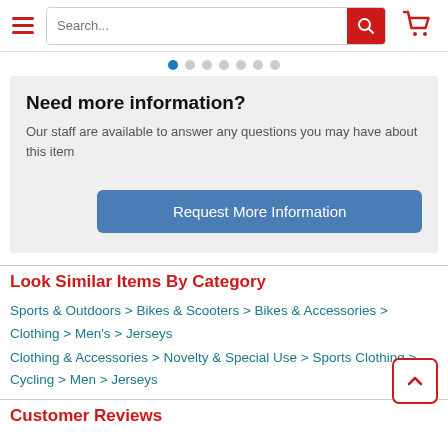Search... [search bar] [cart icon]
[Figure (other): Carousel pagination dots, 7 dots with first one active (blue)]
Need more information?
Our staff are available to answer any questions you may have about this item
Request More Information
Look Similar Items By Category
Sports & Outdoors > Bikes & Scooters > Bikes & Accessories > Clothing > Men's > Jerseys
Clothing & Accessories > Novelty & Special Use > Sports Clothing > Cycling > Men > Jerseys
Customer Reviews